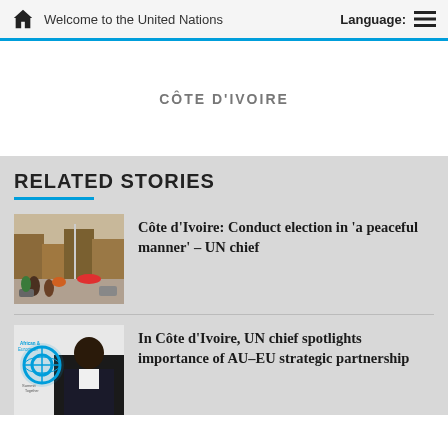Welcome to the United Nations
CÔTE D'IVOIRE
RELATED STORIES
[Figure (photo): Street scene in Côte d'Ivoire showing a busy market street with buildings and people]
Côte d'Ivoire: Conduct election in 'a peaceful manner' – UN chief
[Figure (photo): African Continental European Summit logo with a person in foreground]
In Côte d'Ivoire, UN chief spotlights importance of AU–EU strategic partnership